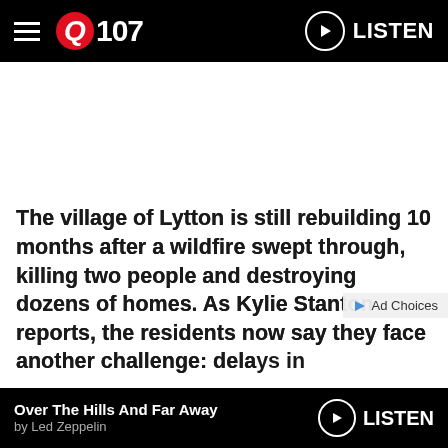Q107 — LISTEN
The village of Lytton is still rebuilding 10 months after a wildfire swept through, killing two people and destroying dozens of homes. As Kylie Stanton reports, the residents now say they face another challenge: delays in
Over The Hills And Far Away by Led Zeppelin — LISTEN